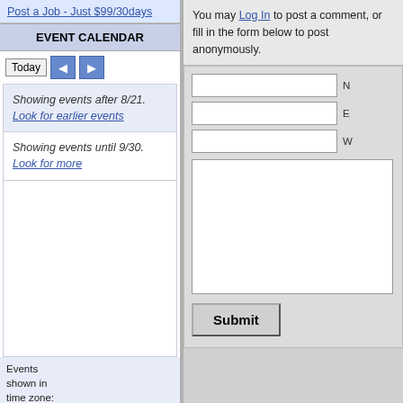Post a Job - Just $99/30days
EVENT CALENDAR
Today (nav buttons)
Showing events after 8/21. Look for earlier events
Showing events until 9/30. Look for more
Events shown in time zone: Eastern Time - New York
[Figure (logo): Google Calendar logo with plus button]
You may Log In to post a comment, or fill in the form below to post anonymously.
[Figure (screenshot): Comment form with Name, Email, Website fields, textarea, and Submit button]